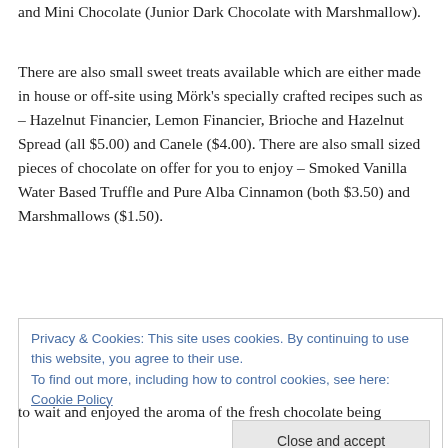and Mini Chocolate (Junior Dark Chocolate with Marshmallow).
There are also small sweet treats available which are either made in house or off-site using Mörk's specially crafted recipes such as – Hazelnut Financier, Lemon Financier, Brioche and Hazelnut Spread (all $5.00) and Canele ($4.00). There are also small sized pieces of chocolate on offer for you to enjoy – Smoked Vanilla Water Based Truffle and Pure Alba Cinnamon (both $3.50) and Marshmallows ($1.50).
Privacy & Cookies: This site uses cookies. By continuing to use this website, you agree to their use. To find out more, including how to control cookies, see here: Cookie Policy
to wait and enjoyed the aroma of the fresh chocolate being